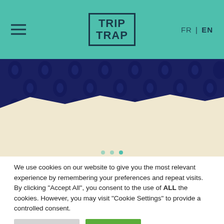[Figure (screenshot): Navigation bar with hamburger menu, TRIP TRAP logo in a box, and FR | EN language switcher on teal/green background]
[Figure (photo): Hero image showing dark navy blue damask-patterned wallpaper on top half, torn paper effect revealing cream/beige area below, with carousel dots at bottom]
We use cookies on our website to give you the most relevant experience by remembering your preferences and repeat visits. By clicking "Accept All", you consent to the use of ALL the cookies. However, you may visit "Cookie Settings" to provide a controlled consent.
Cookie Settings
Accept All